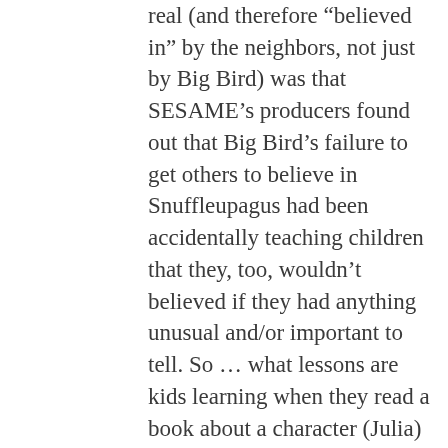real (and therefore “believed in” by the neighbors, not just by Big Bird) was that SESAME’s producers found out that Big Bird’s failure to get others to believe in Snuffleupagus had been accidentally teaching children that they, too, wouldn’t believed if they had anything unusual and/or important to tell. So … what lessons are kids learning when they read a book about a character (Julia) who is only ever real INSIDE JUST THAT ONE BOOK that’s about people misunderstanding her? In the book, she’s in the neighborhood (having problems that other people have to solve)… but everywhere else